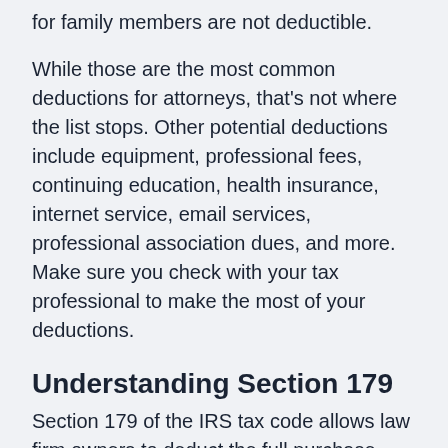for family members are not deductible.
While those are the most common deductions for attorneys, that's not where the list stops. Other potential deductions include equipment, professional fees, continuing education, health insurance, internet service, email services, professional association dues, and more. Make sure you check with your tax professional to make the most of your deductions.
Understanding Section 179
Section 179 of the IRS tax code allows law firm owners to deduct the full purchase price of any qualifying equipment or software bought during the tax year. Items must meet three qualifications, including the property being tangible, the property having been acquired for business use, and the property having